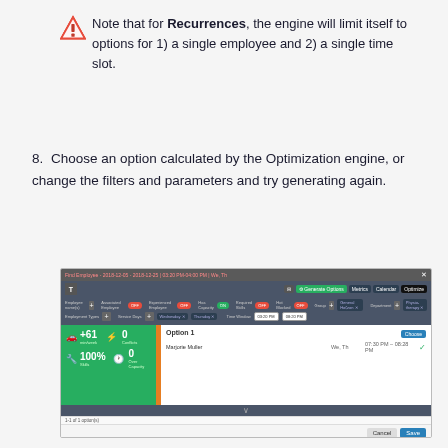Note that for Recurrences, the engine will limit itself to options for 1) a single employee and 2) a single time slot.
8. Choose an option calculated by the Optimization engine, or change the filters and parameters and try generating again.
[Figure (screenshot): Screenshot of the optimization engine dialog showing filter options, Option 1 result with employee Marjorie Muller, days We/Th, time 07:30 PM – 08:28 PM, with green stats panel showing +61 min/week, 0 conflicts, 100% skills, 0 over capacity.]
9. Make a selection. The Start and End Times/Dates and